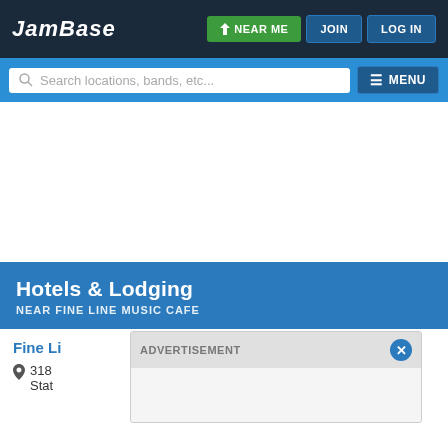JamBase | NEAR ME | JOIN | LOG IN
Search locations, bands, etc... | MENU
Hotels & Lodging NEAR FINE LINE MUSIC CAFE
Fine Li...
318 ... ted States
ADVERTISEMENT